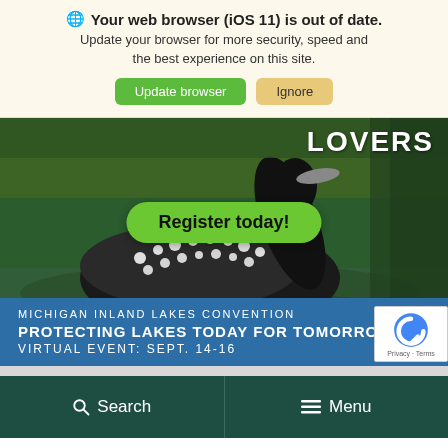Your web browser (iOS 11) is out of date. Update your browser for more security, speed and the best experience on this site.
Update browser | Ignore
[Figure (photo): A loon bird swimming on water with text 'LOVERS' visible in the upper right, a green 'Register today!' button overlay, and a blue banner below reading 'MICHIGAN INLAND LAKES CONVENTION — PROTECTING LAKES TODAY FOR TOMORROW — VIRTUAL EVENT: SEPT. 14-16']
Search
Menu